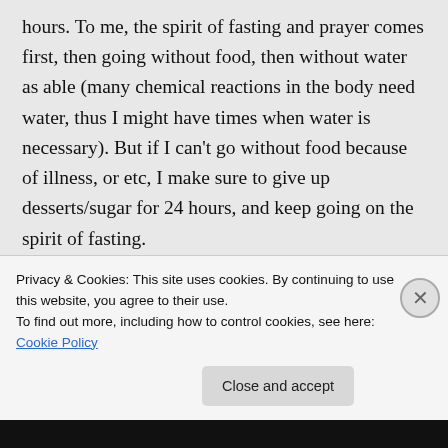hours. To me, the spirit of fasting and prayer comes first, then going without food, then without water as able (many chemical reactions in the body need water, thus I might have times when water is necessary). But if I can't go without food because of illness, or etc, I make sure to give up desserts/sugar for 24 hours, and keep going on the spirit of fasting.
★ Like
Privacy & Cookies: This site uses cookies. By continuing to use this website, you agree to their use.
To find out more, including how to control cookies, see here: Cookie Policy
Close and accept